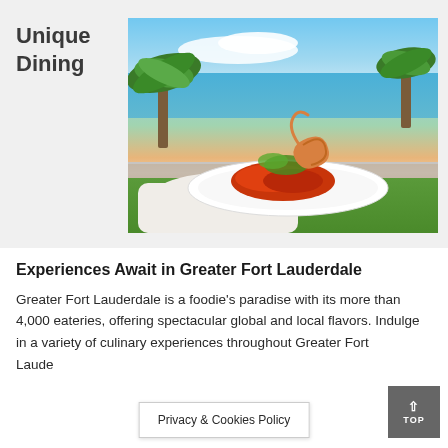Unique Dining
[Figure (photo): A person in a white chef's coat holding a plate of food with shrimp and tomato dish, with palm trees, ocean and blue sky in the background.]
Experiences Await in Greater Fort Lauderdale
Greater Fort Lauderdale is a foodie's paradise with its more than 4,000 eateries, offering spectacular global and local flavors. Indulge in a variety of culinary experiences throughout Greater Fort Lauderdale cities.
Privacy & Cookies Policy